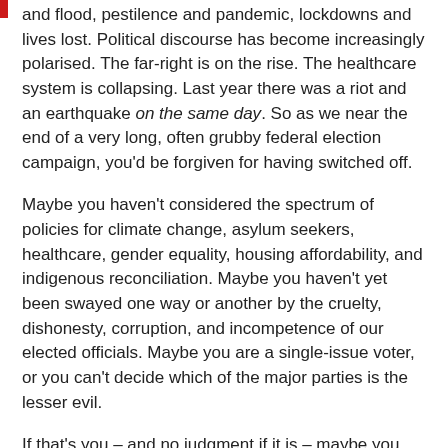and flood, pestilence and pandemic, lockdowns and lives lost. Political discourse has become increasingly polarised. The far-right is on the rise. The healthcare system is collapsing. Last year there was a riot and an earthquake on the same day. So as we near the end of a very long, often grubby federal election campaign, you'd be forgiven for having switched off.
Maybe you haven't considered the spectrum of policies for climate change, asylum seekers, healthcare, gender equality, housing affordability, and indigenous reconciliation. Maybe you haven't yet been swayed one way or another by the cruelty, dishonesty, corruption, and incompetence of our elected officials. Maybe you are a single-issue voter, or you can't decide which of the major parties is the lesser evil.
If that's you – and no judgment if it is – maybe you want to know what the major parties are doing to woo the bike vote. In which case, this is the article for you this election day!